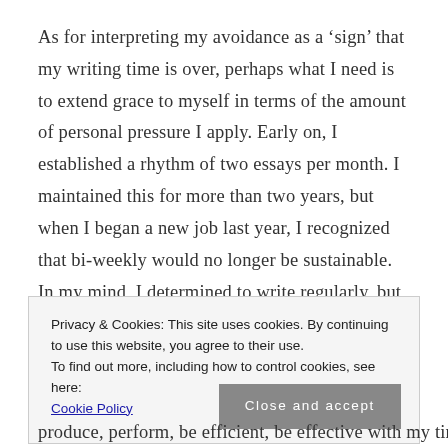As for interpreting my avoidance as a ‘sign’ that my writing time is over, perhaps what I need is to extend grace to myself in terms of the amount of personal pressure I apply. Early on, I established a rhythm of two essays per month. I maintained this for more than two years, but when I began a new job last year, I recognized that bi-weekly would no longer be sustainable. In my mind, I determined to write regularly, but post monthly. Which I have mostly done. Except for these six- and
Privacy & Cookies: This site uses cookies. By continuing to use this website, you agree to their use.
To find out more, including how to control cookies, see here:
Cookie Policy
produce, perform, be efficient, be effective with my time